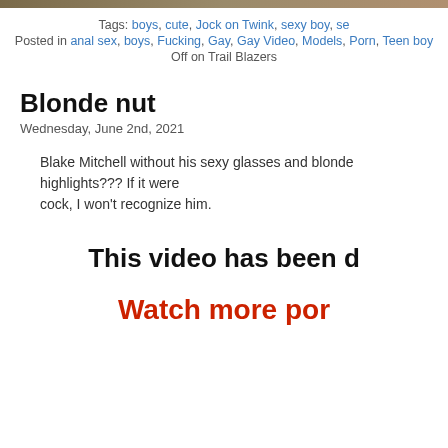[Figure (photo): Partial photo strip at top of page]
Tags: boys, cute, Jock on Twink, sexy boy, se...
Posted in anal sex, boys, Fucking, Gay, Gay Video, Models, Porn, Teen boy...
Off on Trail Blazers
Blonde nut
Wednesday, June 2nd, 2021
Blake Mitchell without his sexy glasses and blonde highlights??? If it were... cock, I won't recognize him.
This video has been d...
Watch more por...